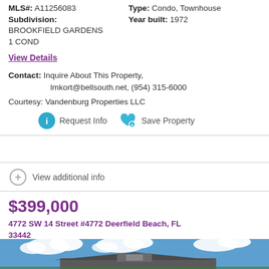MLS#: A11256083   Type: Condo, Townhouse
Subdivision: BROOKFIELD GARDENS 1 COND   Year built: 1972
View Details
Contact: Inquire About This Property, lmkort@bellsouth.net, (954) 315-6000
Courtesy: Vandenburg Properties LLC
Request Info   Save Property
View additional info
$399,000
4772 SW 14 Street #4772 Deerfield Beach, FL 33442
[Figure (photo): Exterior photo of a residential property under a blue sky with clouds]